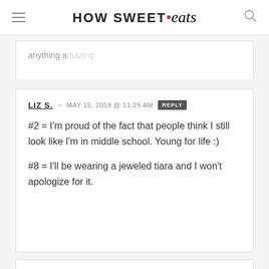HOW SWEET • eats
anything amazing
LIZ S. — MAY 15, 2018 @ 11:29 AM  REPLY
#2 = I'm proud of the fact that people think I still look like I'm in middle school. Young for life :)

#8 = I'll be wearing a jeweled tiara and I won't apologize for it.
SAM — MAY 15, 2018 @ 11:45 AM  REPLY
I definitely second many of the